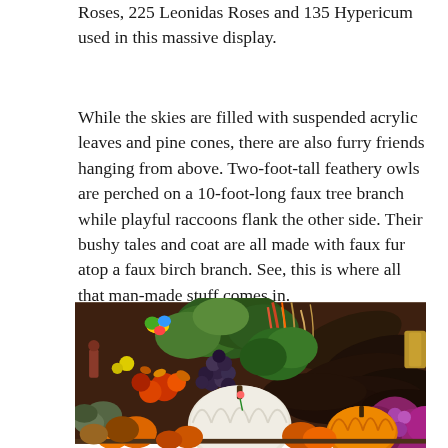Roses, 225 Leonidas Roses and 135 Hypericum used in this massive display.
While the skies are filled with suspended acrylic leaves and pine cones, there are also furry friends hanging from above. Two-foot-tall feathery owls are perched on a 10-foot-long faux tree branch while playful raccoons flank the other side. Their bushy tales and coat are all made with faux fur atop a faux birch branch. See, this is where all that man-made stuff comes in.
[Figure (photo): A large harvest/Thanksgiving display featuring an abundance of pumpkins in various colors (white, orange, green), gourds, grapes, mums in purple/magenta, ornamental grasses, and other fall produce and flowers arranged in a massive decorative display.]